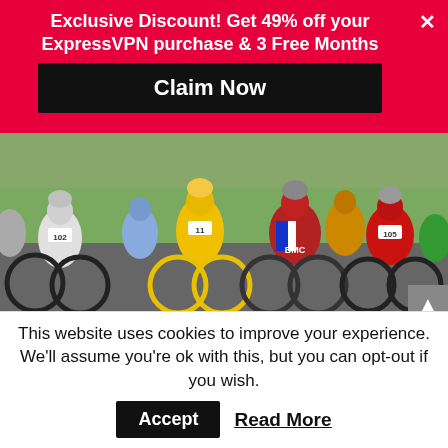Exclusive Discount! Get 49% off your ExpressVPN purchase & 3 Free Months
Claim Now
[Figure (photo): Group of cyclists racing, including riders in yellow, blue/red BMC jersey, and other team kits, shot from behind at road level]
With ExpressVPN, you get the best VPN for
This website uses cookies to improve your experience. We'll assume you're ok with this, but you can opt-out if you wish.
Accept
Read More